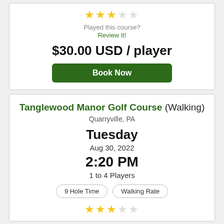[Figure (other): Star rating: 3 out of 5 gold stars]
Played this course?
Review It!
$30.00 USD / player
Book Now
Tanglewood Manor Golf Course (Walking)
Quarryville, PA
Tuesday
Aug 30, 2022
2:20 PM
1 to 4 Players
9 Hole Time
Walking Rate
[Figure (other): Star rating: 3 out of 5 gold stars]